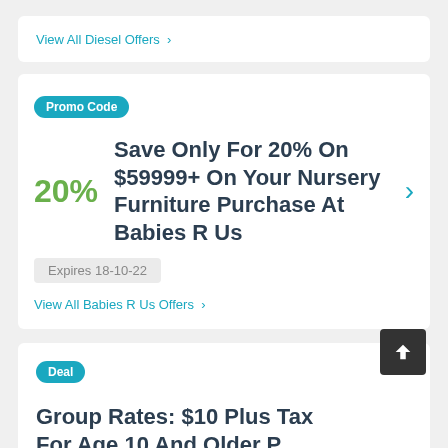View All Diesel Offers >
Promo Code
Save Only For 20% On $59999+ On Your Nursery Furniture Purchase At Babies R Us
Expires 18-10-22
View All Babies R Us Offers >
Deal
Group Rates: $10 Plus Tax For Age 10 And Older P...